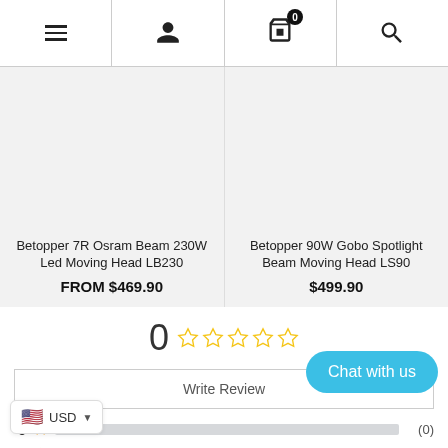[Figure (screenshot): E-commerce navigation bar with hamburger menu, user icon, shopping cart with badge 0, and search icon]
Betopper 7R Osram Beam 230W Led Moving Head LB230
FROM $469.90
Betopper 90W Gobo Spotlight Beam Moving Head LS90
$499.90
0 ☆☆☆☆☆
Write Review
5 ★ (0)
4 ★ (0)
3 ★ (0)
(0)
USD
Chat with us